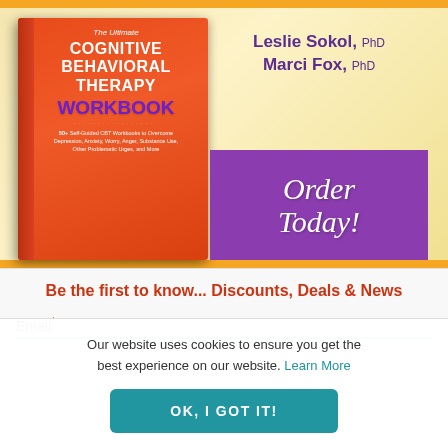[Figure (illustration): Book cover advertisement for 'The Ultimate Cognitive Behavioral Therapy Workbook' by Leslie Sokol, PhD and Marci Fox, PhD, with an orange book cover, purple 'WORKBOOK' text, purple 'Order Today!' button on right side, set on a yellow/gold bokeh background.]
Be the first to know... Discounts, Deals & News
Email*
Our website uses cookies to ensure you get the best experience on our website. Learn More
OK, I GOT IT!